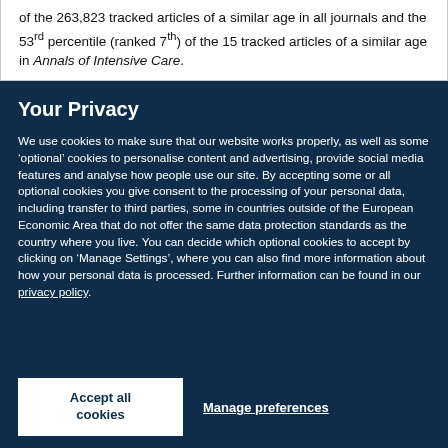of the 263,823 tracked articles of a similar age in all journals and the 53rd percentile (ranked 7th) of the 15 tracked articles of a similar age in Annals of Intensive Care.
Your Privacy
We use cookies to make sure that our website works properly, as well as some ‘optional’ cookies to personalise content and advertising, provide social media features and analyse how people use our site. By accepting some or all optional cookies you give consent to the processing of your personal data, including transfer to third parties, some in countries outside of the European Economic Area that do not offer the same data protection standards as the country where you live. You can decide which optional cookies to accept by clicking on ‘Manage Settings’, where you can also find more information about how your personal data is processed. Further information can be found in our privacy policy.
Accept all cookies
Manage preferences